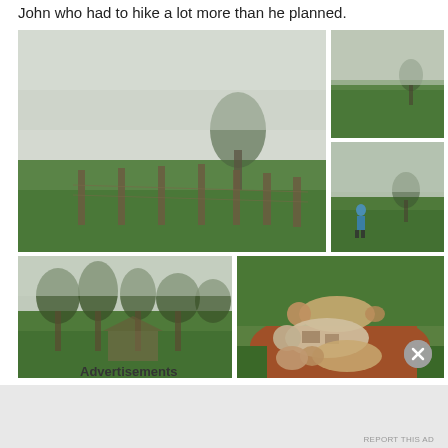John who had to hike a lot more than he planned.
[Figure (photo): Foggy green pasture with wooden fence posts in the mist]
[Figure (photo): Foggy green hillside landscape]
[Figure (photo): Person in blue jacket hiking through foggy green pasture with a tree in background]
[Figure (photo): Treeline and rural structure in misty green field]
[Figure (photo): Several pigs resting on red dirt path surrounded by green grass]
Advertisements